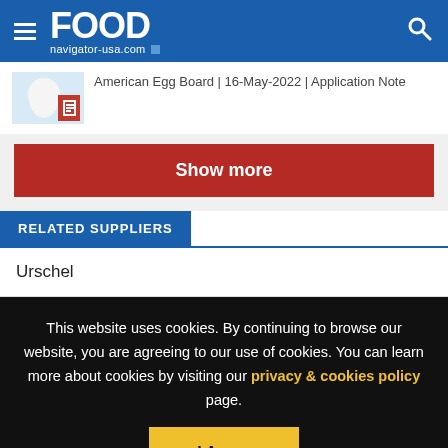FOOD navigator-usa.com
American Egg Board | 16-May-2022 | Application Note
Show more
RELATED SUPPLIERS
Urschel
This website uses cookies. By continuing to browse our website, you are agreeing to our use of cookies. You can learn more about cookies by visiting our privacy & cookies policy page.
I Agree